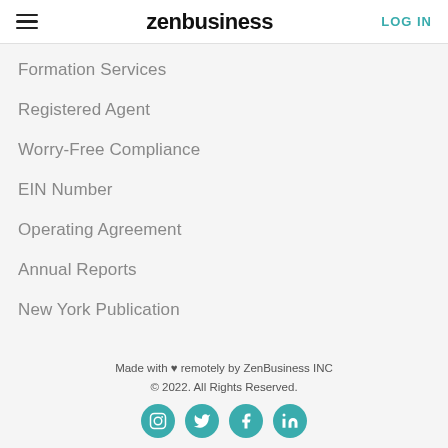zenbusiness | LOG IN
Formation Services
Registered Agent
Worry-Free Compliance
EIN Number
Operating Agreement
Annual Reports
New York Publication
Made with ♥ remotely by ZenBusiness INC © 2022. All Rights Reserved.